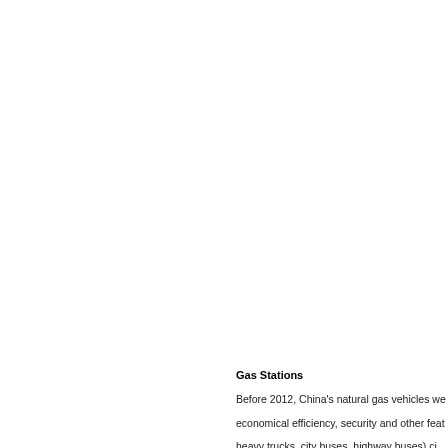Gas Stations
Before 2012, China's natural gas vehicles we...
economical efficiency, security and other feat...
heavy trucks, city buses, highway buses) ci...